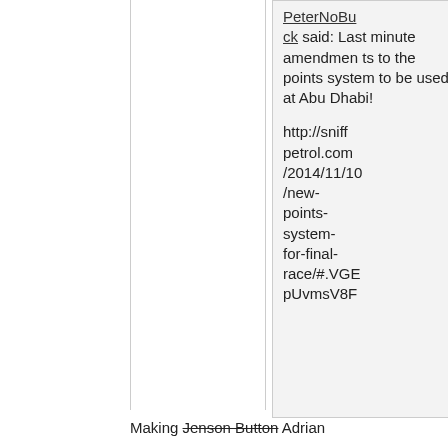PeterNoBuck said: Last minute amendments to the points system to be used at Abu Dhabi!

http://sniffpetrol.com/2014/11/10/new-points-system-for-final-race/#.VGEpUvmsV8F
Making Jenson Button Adrian